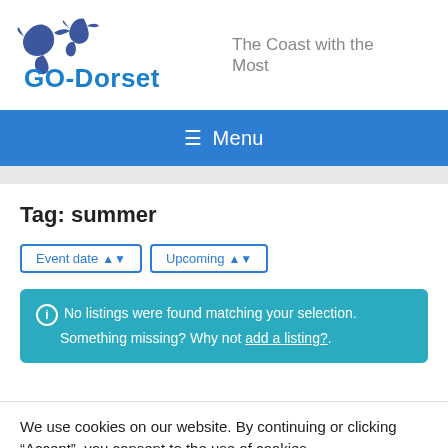[Figure (logo): GO-Dorset logo with two dolphins above the text, in blue, and tagline 'The Coast with the Most' in gray to the right]
≡ Menu
Tag: summer
Event date ⬦  Upcoming ⬦
ℹ No listings were found matching your selection. Something missing? Why not add a listing?.
We use cookies on our website. By continuing or clicking "Accept", you consent to the use of cookies.